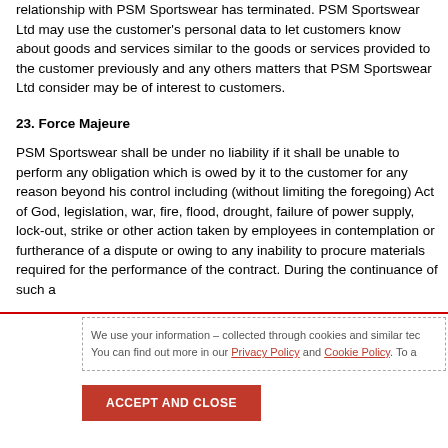relationship with PSM Sportswear has terminated. PSM Sportswear Ltd may use the customer's personal data to let customers know about goods and services similar to the goods or services provided to the customer previously and any others matters that PSM Sportswear Ltd consider may be of interest to customers.
23. Force Majeure
PSM Sportswear shall be under no liability if it shall be unable to perform any obligation which is owed by it to the customer for any reason beyond his control including (without limiting the foregoing) Act of God, legislation, war, fire, flood, drought, failure of power supply, lock-out, strike or other action taken by employees in contemplation or furtherance of a dispute or owing to any inability to procure materials required for the performance of the contract. During the continuance of such a
We use your information – collected through cookies and similar tec You can find out more in our Privacy Policy and Cookie Policy. To a
ACCEPT AND CLOSE